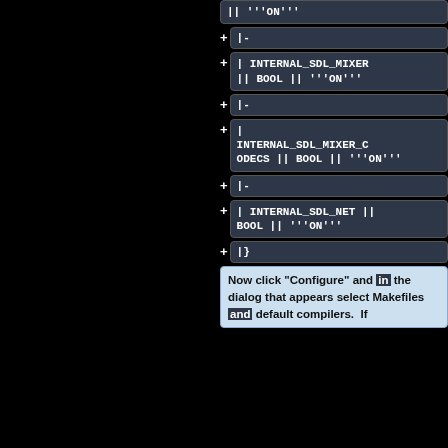|| '''ON'''
|-
| INTERNAL_SDL_MIXER || BOOL || '''ON'''
|-
| INTERNAL_SDL_MIXER_CODECS || BOOL || '''ON'''
|-
| INTERNAL_SDL_NET || BOOL || '''ON'''
|}
Now click "Configure" and in the dialog that appears select Makefiles and default compilers.  If